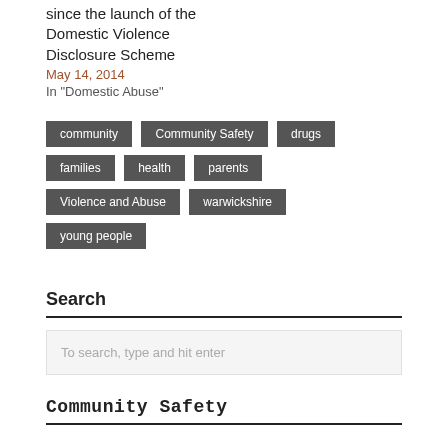since the launch of the Domestic Violence Disclosure Scheme
May 14, 2014
In "Domestic Abuse"
community
Community Safety
drugs
families
health
parents
Violence and Abuse
warwickshire
young people
Search
To search, type and hit enter
Community Safety